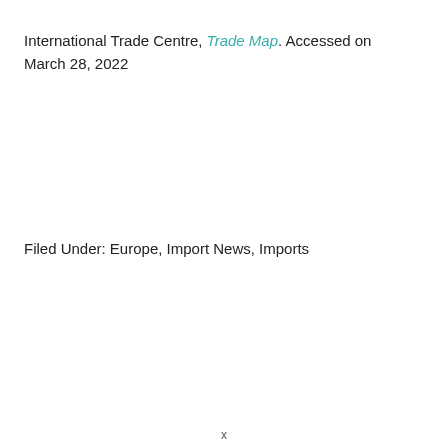International Trade Centre, Trade Map. Accessed on March 28, 2022
Filed Under: Europe, Import News, Imports
x